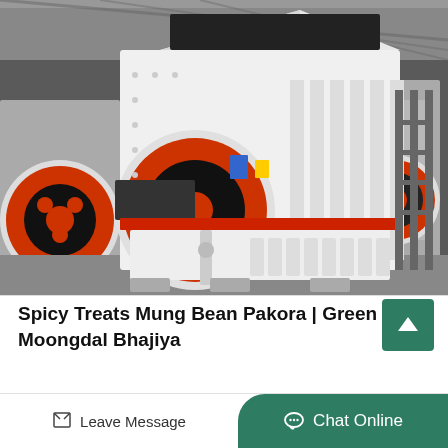[Figure (photo): A large white industrial impact crusher/stone crushing machine with a prominent red and black flywheel on the left side. The machine has a red accent ring around the middle section and white ribbed components. It is situated in a large factory/warehouse with steel structure visible in the background. Multiple similar machines are visible in the background.]
Spicy Treats Mung Bean Pakora | Green Moongdal Bhajiya
Mung dhal bhajiyas are...
Leave Message
Chat Online